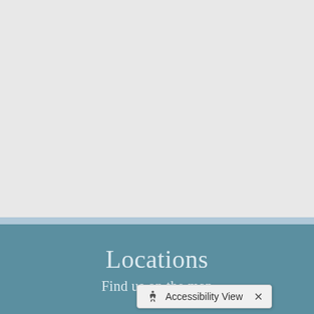[Figure (map): A light grey map background area occupying the top portion of the page]
Locations
Find us on the map
Accessibility View